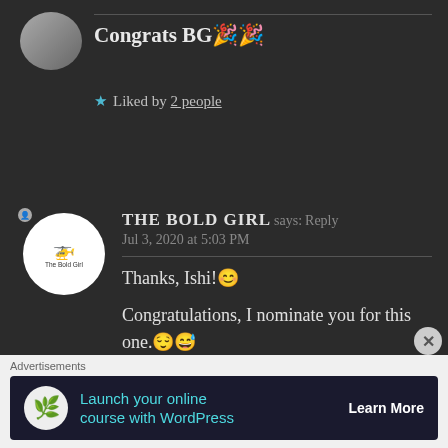Congrats BG 🎉🎉
★ Liked by 2 people
THE BOLD GIRL says: Reply
Jul 3, 2020 at 5:03 PM
Thanks, Ishi! 😊

Congratulations, I nominate you for this one.😌😅
★ Liked by 1 person
[Figure (other): Advertisement banner: Launch your online course with WordPress — Learn More]